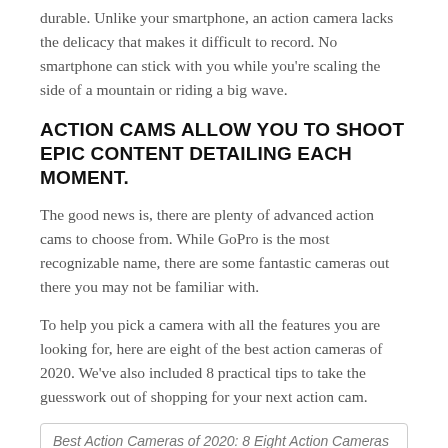durable. Unlike your smartphone, an action camera lacks the delicacy that makes it difficult to record. No smartphone can stick with you while you're scaling the side of a mountain or riding a big wave.
ACTION CAMS ALLOW YOU TO SHOOT EPIC CONTENT DETAILING EACH MOMENT.
The good news is, there are plenty of advanced action cams to choose from. While GoPro is the most recognizable name, there are some fantastic cameras out there you may not be familiar with.
To help you pick a camera with all the features you are looking for, here are eight of the best action cameras of 2020. We've also included 8 practical tips to take the guesswork out of shopping for your next action cam.
Best Action Cameras of 2020: 8 Eight Action Cameras